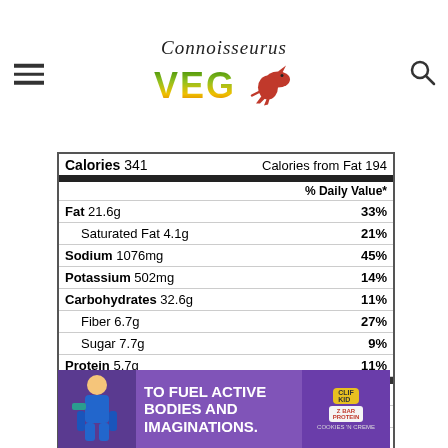Connoisseurus VEG
| Nutrient | Amount | % Daily Value |
| --- | --- | --- |
| Calories 341 | Calories from Fat 194 |  |
| Fat 21.6g |  | 33% |
| Saturated Fat 4.1g |  | 21% |
| Sodium 1076mg |  | 45% |
| Potassium 502mg |  | 14% |
| Carbohydrates 32.6g |  | 11% |
| Fiber 6.7g |  | 27% |
| Sugar 7.7g |  | 9% |
| Protein 5.7g |  | 11% |
| Calcium 38mg |  | 4% |
| Iron 2mg |  | 11% |
* Percent Daily Values are based on a 2000 calorie diet.
[Figure (photo): Advertisement banner: 'TO FUEL ACTIVE BODIES AND IMAGINATIONS.' on purple background with a child and Clif Kid protein bar]